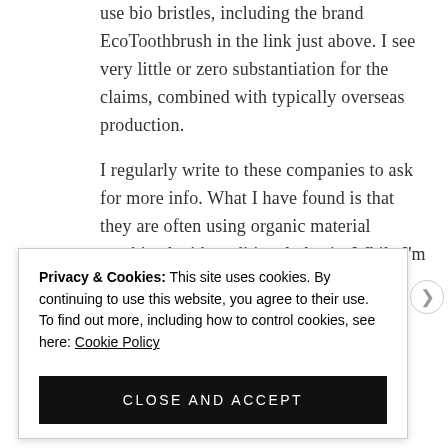use bio bristles, including the brand EcoToothbrush in the link just above. I see very little or zero substantiation for the claims, combined with typically overseas production.
I regularly write to these companies to ask for more info. What I have found is that they are often using organic material combined with traditional plastic. While I'm not a
Privacy & Cookies: This site uses cookies. By continuing to use this website, you agree to their use. To find out more, including how to control cookies, see here: Cookie Policy
CLOSE AND ACCEPT